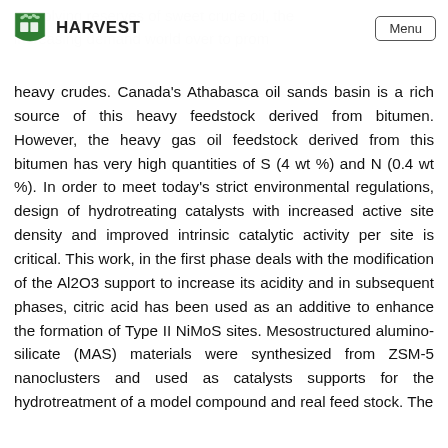HARVEST  Menu
heavy crudes. Canada's Athabasca oil sands basin is a rich source of this heavy feedstock derived from bitumen. However, the heavy gas oil feedstock derived from this bitumen has very high quantities of S (4 wt %) and N (0.4 wt %). In order to meet today's strict environmental regulations, design of hydrotreating catalysts with increased active site density and improved intrinsic catalytic activity per site is critical. This work, in the first phase deals with the modification of the Al2O3 support to increase its acidity and in subsequent phases, citric acid has been used as an additive to enhance the formation of Type II NiMoS sites. Mesostructured alumino-silicate (MAS) materials were synthesized from ZSM-5 nanoclusters and used as catalysts supports for the hydrotreatment of a model compound and real feed stock. The